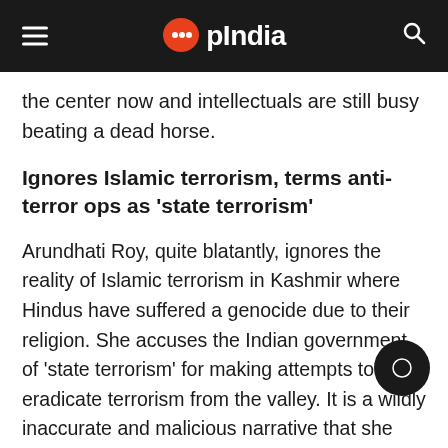OpIndia
the center now and intellectuals are still busy beating a dead horse.
Ignores Islamic terrorism, terms anti-terror ops as ‘state terrorism’
Arundhati Roy, quite blatantly, ignores the reality of Islamic terrorism in Kashmir where Hindus have suffered a genocide due to their religion. She accuses the Indian government of ‘state terrorism’ for making attempts to eradicate terrorism from the valley. It is a wildly inaccurate and malicious narrative that she has peddled religiously over the years.
Her critique of US hegemony and warmongering,